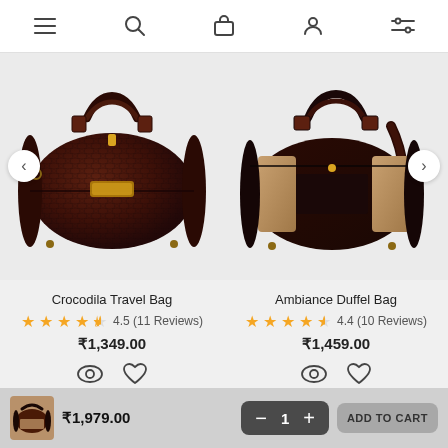[Figure (screenshot): Mobile e-commerce app navigation bar with hamburger menu, search, cart, user profile, and filter icons]
[Figure (photo): Crocodila Travel Bag - dark brown crocodile-textured round duffel bag with gold hardware]
[Figure (photo): Ambiance Duffel Bag - dark brown and tan leather duffel bag with shoulder strap]
Crocodila Travel Bag
4.5 (11 Reviews)
₹1,349.00
Ambiance Duffel Bag
4.4 (10 Reviews)
₹1,459.00
Customer Reviews
₹1,979.00
1